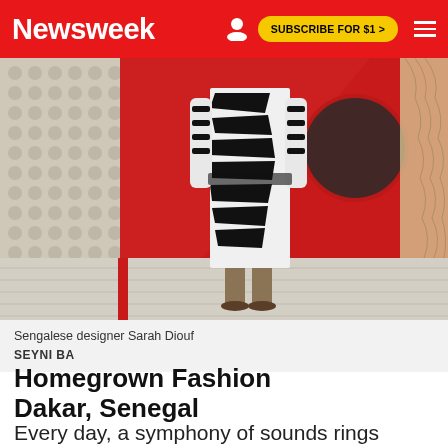Newsweek | SUBSCRIBE FOR $1 >
[Figure (photo): Person wearing a bold black and white zebra-print outfit standing in front of a red geometric structure with a round window, on a light wooden floor with a dotted wall in background]
Sengalese designer Sarah Diouf
SEYNI BA
Homegrown Fashion Dakar, Senegal
Every day, a symphony of sounds rings throughout Dakar's streets, but perhaps the